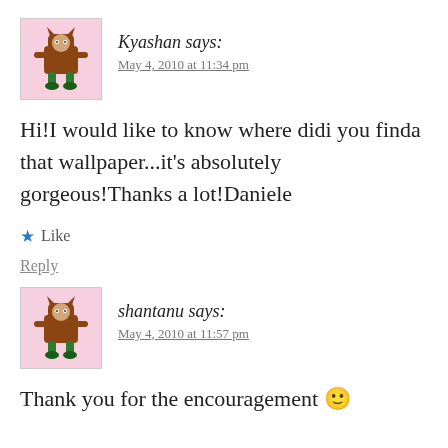Kyashan says:
May 4, 2010 at 11:34 pm
Hi!I would like to know where didi you finda that wallpaper...it's absolutely gorgeous!Thanks a lot!Daniele
★ Like
Reply
shantanu says:
May 4, 2010 at 11:57 pm
Thank you for the encouragement 🙂